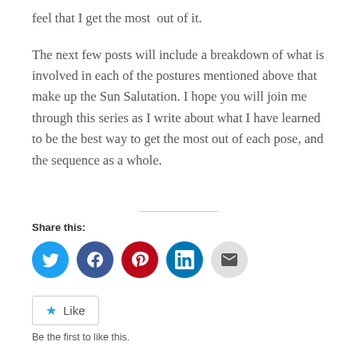feel that I get the most  out of it.
The next few posts will include a breakdown of what is involved in each of the postures mentioned above that make up the Sun Salutation. I hope you will join me through this series as I write about what I have learned to be the best way to get the most out of each pose, and the sequence as a whole.
Share this:
Like
Be the first to like this.